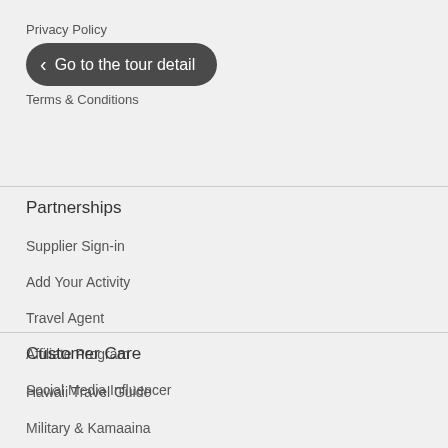Privacy Policy
Go to the tour detail
Terms & Conditions
Partnerships
Supplier Sign-in
Add Your Activity
Travel Agent
Affiliate Program
Social Media Influencer
Customer Care
Hawaii Travel Guide
Military & Kamaaina